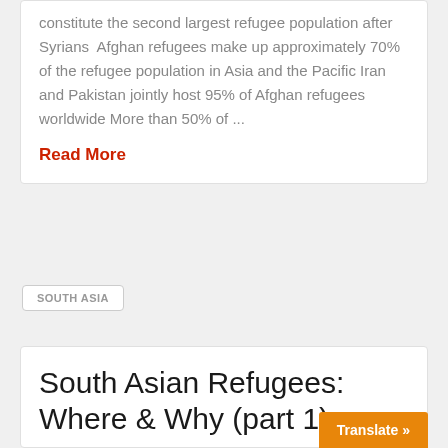constitute the second largest refugee population after Syrians  Afghan refugees make up approximately 70% of the refugee population in Asia and the Pacific Iran and Pakistan jointly host 95% of Afghan refugees worldwide More than 50% of ...
Read More
SOUTH ASIA
South Asian Refugees: Where & Why (part 1)
Where is South Asia and why are the refugees leaving? South Asia... Is a populous region, home to